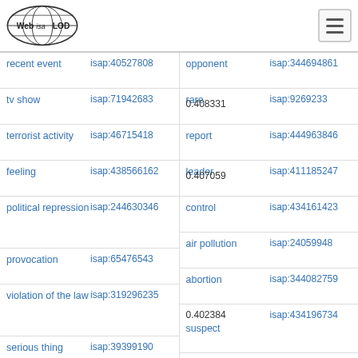Web isa LOD (logo) with hamburger menu
| Term | ISAP ID | Term | ISAP ID |
| --- | --- | --- | --- |
| recent event | isap:40527808 | opponent | isap:344694861 |
| tv show | isap:71942683 | rare / 0.408331 | isap:9269233 |
| terrorist activity | isap:46715418 | report | isap:444963846 |
| feeling | isap:438566162 | leader / 0.407059 | isap:411185247 |
| political repression | isap:244630346 | control | isap:434161423 |
|  |  | air pollution | isap:24059948 |
| provocation | isap:65476543 | abortion | isap:344082759 |
| violation of the law | isap:319296235 | 0.402384 / suspect | isap:434196734 |
| serious thing | isap:39399190 | event | isap:230113478 |
| shocking incident | isap:46538448 | life / 0.400363 | isap:8167367 |
|  |  | mother | isap:440647041 |